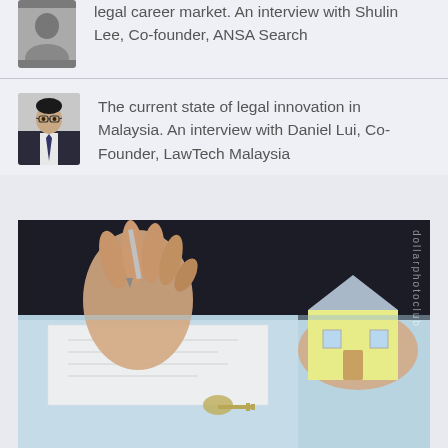legal career market. An interview with Shulin Lee, Co-founder, ANSA Search
The current state of legal innovation in Malaysia. An interview with Daniel Lui, Co-Founder, LawTech Malaysia
[Figure (photo): A person signing documents on a desk with a model house and keys in the foreground, representing real estate or legal document signing.]